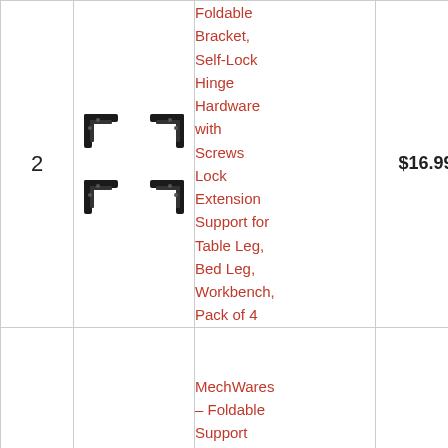| # | Image | Product | Price | Buy |
| --- | --- | --- | --- | --- |
| 2 | [image] | Foldable Bracket, Self-Lock Hinge Hardware with Screws Lock Extension Support for Table Leg, Bed Leg, Workbench, Pack of 4 | $16.99 | Buy on Amazon |
|  |  | MechWares – Foldable Support Bracket |  |  |